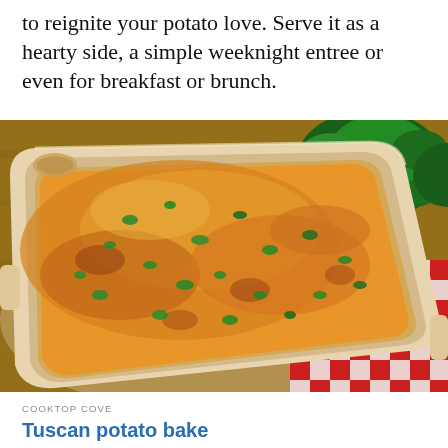to reignite your potato love. Serve it as a hearty side, a simple weeknight entree or even for breakfast or brunch.
[Figure (photo): A baking dish filled with a creamy potato casserole topped with melted orange cheese and chopped fresh parsley, set on a wooden surface with fresh parsley bunches and a red and white checkered cloth in the background.]
COOKTOP COVE
Tuscan potato bake